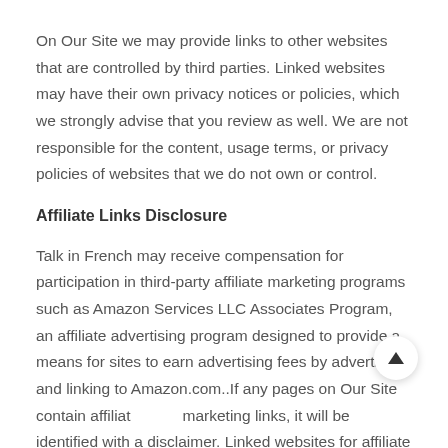On Our Site we may provide links to other websites that are controlled by third parties. Linked websites may have their own privacy notices or policies, which we strongly advise that you review as well. We are not responsible for the content, usage terms, or privacy policies of websites that we do not own or control.
Affiliate Links Disclosure
Talk in French may receive compensation for participation in third-party affiliate marketing programs such as Amazon Services LLC Associates Program, an affiliate advertising program designed to provide a means for sites to earn advertising fees by advertising and linking to Amazon.com..If any pages on Our Site contain affiliate marketing links, it will be identified with a disclaimer. Linked websites for affiliate marketing may have their own